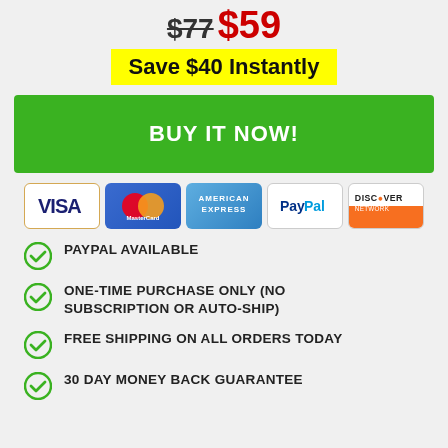$77 $59
Save $40 Instantly
BUY IT NOW!
[Figure (logo): Payment method logos: Visa, MasterCard, American Express, PayPal, Discover Network]
PAYPAL AVAILABLE
ONE-TIME PURCHASE ONLY (NO SUBSCRIPTION OR AUTO-SHIP)
FREE SHIPPING ON ALL ORDERS TODAY
30 DAY MONEY BACK GUARANTEE